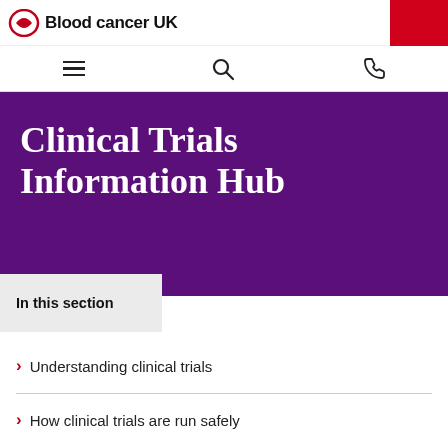Blood Cancer UK
Clinical Trials Information Hub
In this section
Understanding clinical trials
How clinical trials are run safely